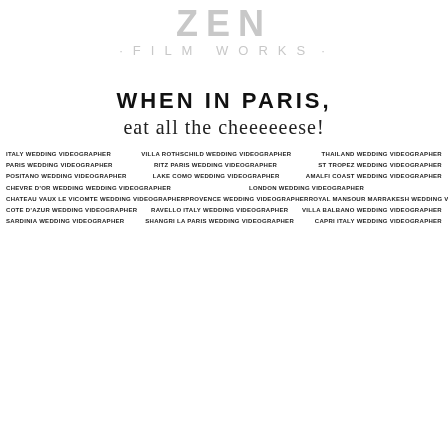[Figure (logo): ZEN FILM WORKS logo with decorative dashes]
WHEN IN PARIS,
eat all the cheeeeeese!
ITALY WEDDING VIDEOGRAPHER   VILLA ROTHSCHILD WEDDING VIDEOGRAPHER   THAILAND WEDDING VIDEOGRAPHER   PARIS WEDDING VIDEOGRAPHER   RITZ PARIS WEDDING VIDEOGRAPHER   ST TROPEZ WEDDING VIDEOGRAPHER   POSITANO WEDDING VIDEOGRAPHER   LAKE COMO WEDDING VIDEOGRAPHER   AMALFI COAST WEDDING VIDEOGRAPHER   CHEVRE D'OR WEDDING WEDDING VIDEOGRAPHER   LONDON WEDDING VIDEOGRAPHER   ROYAL MANSOUR MARRAKESH WEDDING VIDEOGRAPHER   CHATEAU VAUX LE VICOMTE WEDDING VIDEOGRAPHER   PROVENCE WEDDING VIDEOGRAPHER   VILLA BALBANO WEDDING VIDEOGRAPHER   COTE D'AZUR WEDDING VIDEOGRAPHER   RAVELLO ITALY WEDDING VIDEOGRAPHER   SARDINIA WEDDING VIDEOGRAPHER   SHANGRI LA PARIS WEDDING VIDEOGRAPHER   CAPRI ITALY WEDDING VIDEOGRAPHER